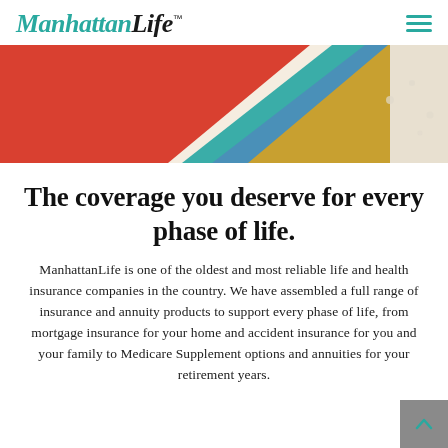ManhattanLife™
[Figure (illustration): Colorful diagonal swooping bands in red, teal, blue, yellow/gold, and cream on a light beige background forming a decorative banner]
The coverage you deserve for every phase of life.
ManhattanLife is one of the oldest and most reliable life and health insurance companies in the country. We have assembled a full range of insurance and annuity products to support every phase of life, from mortgage insurance for your home and accident insurance for you and your family to Medicare Supplement options and annuities for your retirement years.